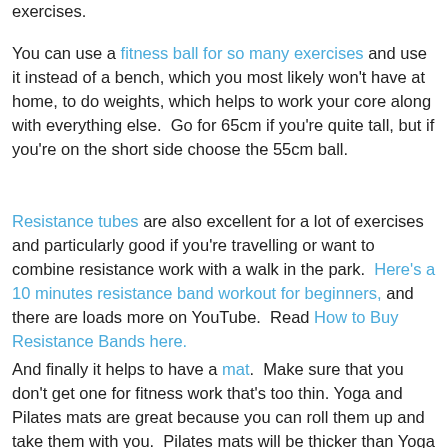exercises.
You can use a fitness ball for so many exercises and use it instead of a bench, which you most likely won't have at home, to do weights, which helps to work your core along with everything else.  Go for 65cm if you're quite tall, but if you're on the short side choose the 55cm ball.
Resistance tubes are also excellent for a lot of exercises and particularly good if you're travelling or want to combine resistance work with a walk in the park.  Here's a 10 minutes resistance band workout for beginners, and there are loads more on YouTube.  Read How to Buy Resistance Bands here.
And finally it helps to have a mat.  Make sure that you don't get one for fitness work that's too thin. Yoga and Pilates mats are great because you can roll them up and take them with you.  Pilates mats will be thicker than Yoga mats, so check the